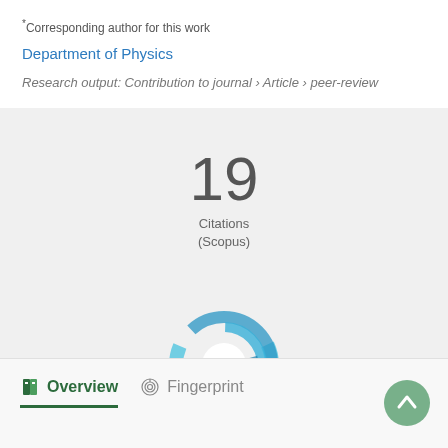*Corresponding author for this work
Department of Physics
Research output: Contribution to journal › Article › peer-review
[Figure (infographic): Citations count badge showing '19 Citations (Scopus)']
[Figure (infographic): Altmetric donut badge showing score '1' with blue swirl design]
Overview   Fingerprint